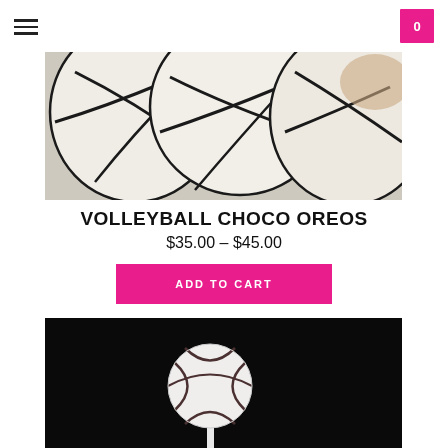☰   0
[Figure (photo): Close-up photo of volleyball-themed chocolate Oreo cookies decorated with black lines on white chocolate coating, showing multiple cookies stacked/overlapping.]
VOLLEYBALL CHOCO OREOS
$35.00 - $45.00
ADD TO CART
[Figure (photo): Photo of a volleyball-themed cake pop on a stick, showing a white round ball decorated with dark brown/black lines resembling a volleyball, photographed against a solid black background.]